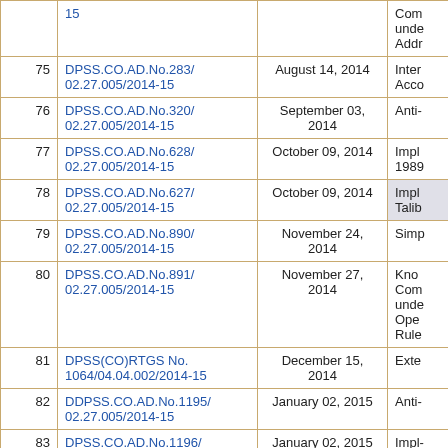| # | Reference | Date | Subject |
| --- | --- | --- | --- |
|  | 15 |  | Com- unde- Addr- |
| 75 | DPSS.CO.AD.No.283/ 02.27.005/2014-15 | August 14, 2014 | Inter- Acco- |
| 76 | DPSS.CO.AD.No.320/ 02.27.005/2014-15 | September 03, 2014 | Anti- |
| 77 | DPSS.CO.AD.No.628/ 02.27.005/2014-15 | October 09, 2014 | Impl- 1989- |
| 78 | DPSS.CO.AD.No.627/ 02.27.005/2014-15 | October 09, 2014 | Impl- Talib- |
| 79 | DPSS.CO.AD.No.890/ 02.27.005/2014-15 | November 24, 2014 | Simp- |
| 80 | DPSS.CO.AD.No.891/ 02.27.005/2014-15 | November 27, 2014 | Kno- Com- unde- Ope- Rule- |
| 81 | DPSS(CO)RTGS No. 1064/04.04.002/2014-15 | December 15, 2014 | Exte- |
| 82 | DDPSS.CO.AD.No.1195/ 02.27.005/2014-15 | January 02, 2015 | Anti- |
| 83 | DPSS.CO.AD.No.1196/ | January 02, 2015 | Impl- |